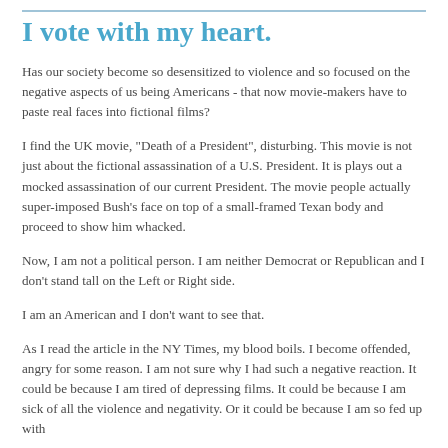I vote with my heart.
Has our society become so desensitized to violence and so focused on the negative aspects of us being Americans - that now movie-makers have to paste real faces into fictional films?
I find the UK movie, "Death of a President", disturbing. This movie is not just about the fictional assassination of a U.S. President. It is plays out a mocked assassination of our current President. The movie people actually super-imposed Bush's face on top of a small-framed Texan body and proceed to show him whacked.
Now, I am not a political person. I am neither Democrat or Republican and I don't stand tall on the Left or Right side.
I am an American and I don't want to see that.
As I read the article in the NY Times, my blood boils. I become offended, angry for some reason. I am not sure why I had such a negative reaction. It could be because I am tired of depressing films. It could be because I am sick of all the violence and negativity. Or it could be because I am so fed up with